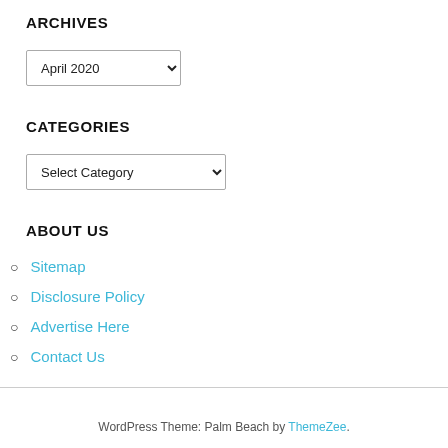ARCHIVES
[Figure (screenshot): Dropdown select box showing 'April 2020' with a down arrow]
CATEGORIES
[Figure (screenshot): Dropdown select box showing 'Select Category' with a down arrow]
ABOUT US
Sitemap
Disclosure Policy
Advertise Here
Contact Us
WordPress Theme: Palm Beach by ThemeZee.